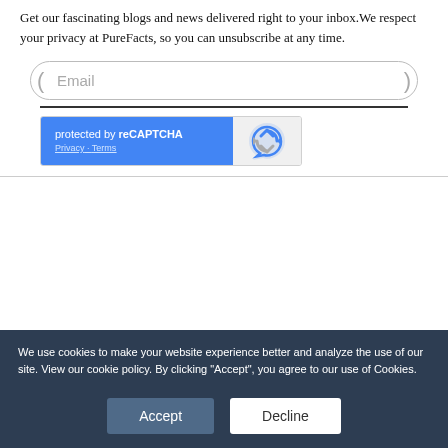Get our fascinating blogs and news delivered right to your inbox.We respect your privacy at PureFacts, so you can unsubscribe at any time.
[Figure (screenshot): Email input field with rounded border and placeholder text 'Email']
[Figure (screenshot): reCAPTCHA widget with blue left panel showing 'protected by reCAPTCHA' and 'Privacy · Terms', and grey right panel with reCAPTCHA logo]
We use cookies to make your website experience better and analyze the use of our site. View our cookie policy. By clicking "Accept", you agree to our use of Cookies.
Accept
Decline